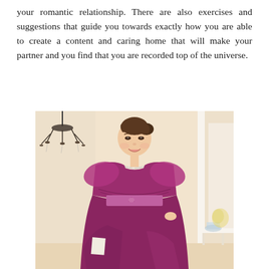your romantic relationship. There are also exercises and suggestions that guide you towards exactly how you are able to create a content and caring home that will make your partner and you find that you are recorded top of the universe.
[Figure (photo): A young Asian woman smiling, wearing a magenta/fuchsia chiffon dress with a bow belt and jeweled neckline, standing in a cream-colored interior room with a chandelier visible on the left and a white side table on the right.]